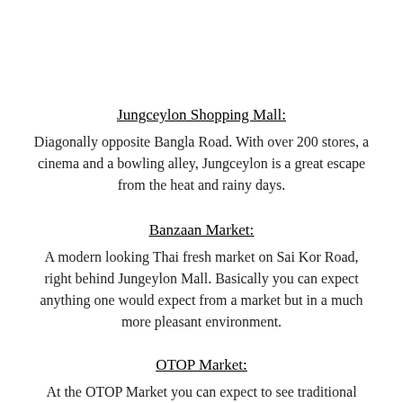Jungceylon Shopping Mall:
Diagonally opposite Bangla Road. With over 200 stores, a cinema and a bowling alley, Jungceylon is a great escape from the heat and rainy days.
Banzaan Market:
A modern looking Thai fresh market on Sai Kor Road, right behind Jungeylon Mall. Basically you can expect anything one would expect from a market but in a much more pleasant environment.
OTOP Market:
At the OTOP Market you can expect to see traditional handicrafts, silk garments, cotton products, pottery,